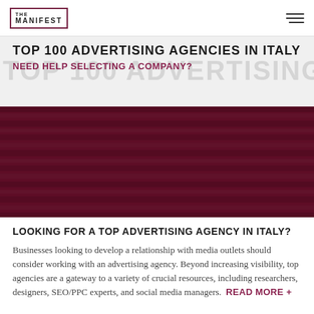THE MANIFEST
TOP 100 ADVERTISING AGENCIES IN ITALY
NEED HELP SELECTING A COMPANY?
[Figure (photo): Hero banner image with dark red/maroon overlay showing vintage signs. Text overlaid: ITALY / AUGUST 2022]
LOOKING FOR A TOP ADVERTISING AGENCY IN ITALY?
Businesses looking to develop a relationship with media outlets should consider working with an advertising agency. Beyond increasing visibility, top agencies are a gateway to a variety of crucial resources, including researchers, designers, SEO/PPC experts, and social media managers. READ MORE +